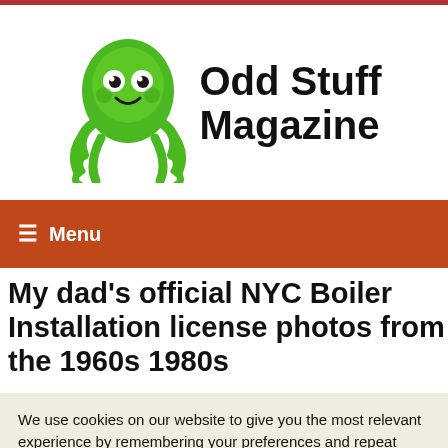[Figure (logo): Odd Stuff Magazine logo with green cartoon octopus and bold black text reading 'Odd Stuff Magazine']
≡ Menu
My dad's official NYC Boiler Installation license photos from the 1960s 1980s
We use cookies on our website to give you the most relevant experience by remembering your preferences and repeat visits. By clicking "Accept", you consent to the use of ALL the cookies.
Do not sell my personal information.
Cookie Settings  Accept